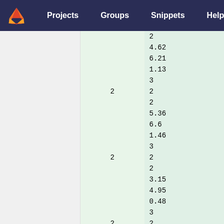Projects  Groups  Snippets  Help  ...
| (col1) | (col2) |
| --- | --- |
|  | 2 |
|  | 4.62 |
|  | 6.21 |
|  | 1.13 |
|  | 3 |
| 2 | 2 |
|  | 2 |
|  | 5.36 |
|  | 6.6 |
|  | 1.46 |
|  | 3 |
| 2 | 2 |
|  | 2 |
|  | 3.15 |
|  | 4.95 |
|  | 0.48 |
|  | 3 |
| 2 | 2 |
|  | 3 |
|  | 4.1 |
|  | 6.41 |